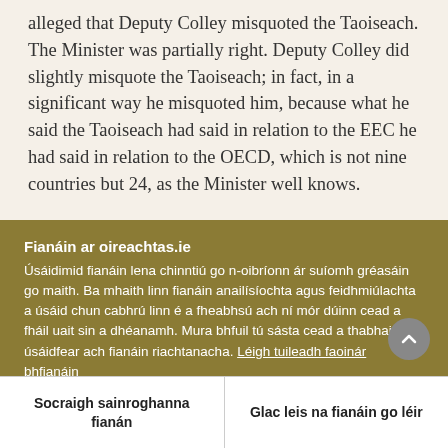alleged that Deputy Colley misquoted the Taoiseach. The Minister was partially right. Deputy Colley did slightly misquote the Taoiseach; in fact, in a significant way he misquoted him, because what he said the Taoiseach had said in relation to the EEC he had said in relation to the OECD, which is not nine countries but 24, as the Minister well knows.
Fianáin ar oireachtas.ie
Úsáidimid fianáin lena chinntiú go n-oibríonn ár suíomh gréasáin go maith. Ba mhaith linn fianáin anailísíochta agus feidhmiúlachta a úsáid chun cabhrú linn é a fheabhsú ach ní mór dúinn cead a fháil uait sin a dhéanamh. Mura bhfuil tú sásta cead a thabhairt, ní úsáidfear ach fianáin riachtanacha. Léigh tuileadh faoinár bhfianáin
Socraigh sainroghanna fianán
Glac leis na fianáin go léir